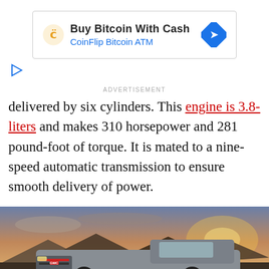[Figure (infographic): Advertisement banner: 'Buy Bitcoin With Cash - CoinFlip Bitcoin ATM' with coin icon and blue navigation arrow icon]
ADVERTISEMENT
delivered by six cylinders. This engine is 3.8-liters and makes 310 horsepower and 281 pound-foot of torque. It is mated to a nine-speed automatic transmission to ensure smooth delivery of power.
[Figure (photo): A gray GMC pickup truck photographed outdoors against a sunset sky with mountains in the background.]